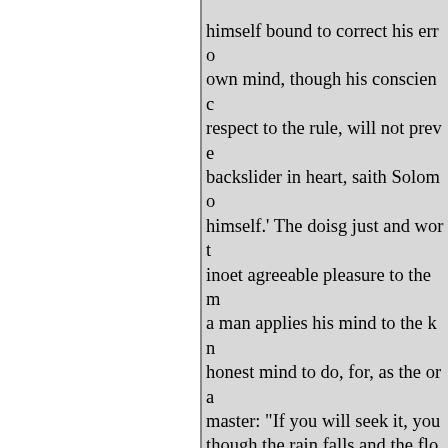himself bound to correct his errors in his own mind, though his conscience, with respect to the rule, will not prevent. The backslider in heart, saith Solomon, shall be filled with himself.' The doisg just and worthy is inoet agreeable pleasure to the m a man applies his mind to the kn honest mind to do, for, as the ora master: "If you will seek it, you though the rain falls and the floo quiet within, notwithstanding all is fonnded upon a rock. But take it serve some mean end or desig what tormente ing fears, what su art and pains doth such a one tak not believe himself: he fears still suspected. Secondly, because int world. It is the saying of Dio Ch thing, but cunning and deceit is spirit they have, the less art and s false and deceitful.' True wisdom and devices. Sincerity and hones would never help him through.